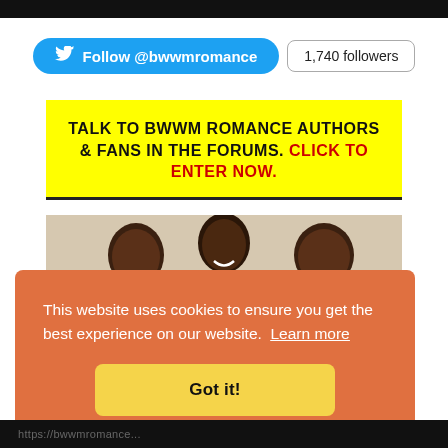[Figure (photo): Partial black image at top of page]
Follow @bwwmromance   1,740 followers
TALK TO BWWM ROMANCE AUTHORS & FANS IN THE FORUMS. CLICK TO ENTER NOW.
[Figure (photo): Three women laughing together, photographed on white background]
This website uses cookies to ensure you get the best experience on our website.  Learn more
Got it!
https://bwwmromance...